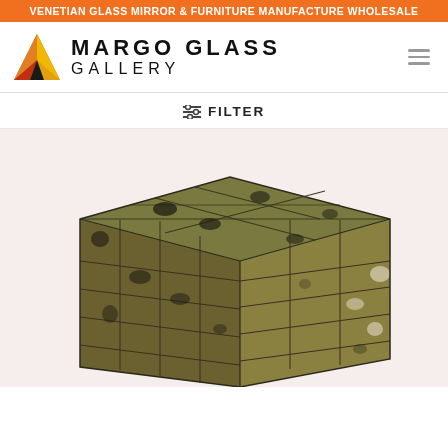VENETIAN GLASS MIRROR & FURNITURE MANUFACTURE WHOLESALE
[Figure (logo): Margo Glass Gallery logo with a red/orange/yellow diamond M icon and bold text MARGO GLASS GALLERY]
≡ FILTER
[Figure (photo): A cube-shaped furniture piece covered in aged/antique mirrored glass tiles with dark oxidized patina spots, displayed on a white background]